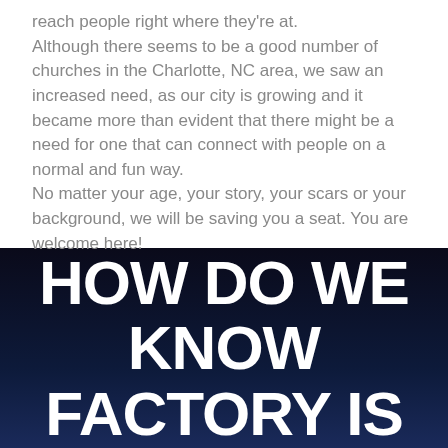reach people right where they're at.
Although there seems to be a good number of churches in the Charlotte, NC area, we saw an increased need, as our city is growing and it became more than evident that there might be a need for one that can connect with people on a normal and fun way.
No matter your age, your story, your scars or your background, we will be saving you a seat. You are welcome here!
HOW DO WE KNOW FACTORY IS